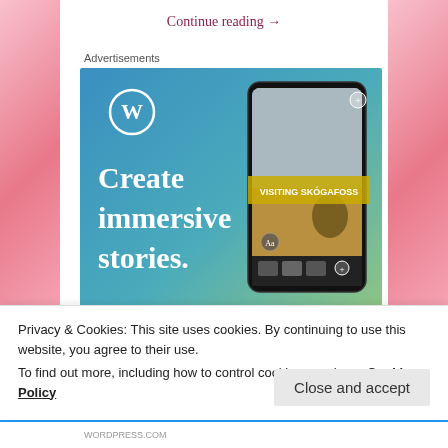Continue reading →
Advertisements
[Figure (illustration): WordPress advertisement banner showing 'Create immersive stories. GET THE APP' with a smartphone displaying a travel story about visiting Skógafoss waterfall, blue-to-green gradient background with WordPress logo]
Privacy & Cookies: This site uses cookies. By continuing to use this website, you agree to their use.
To find out more, including how to control cookies, see here: Cookie Policy
Close and accept